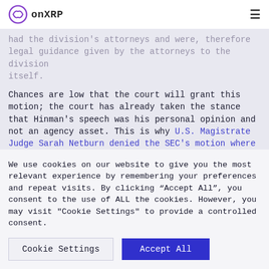onXRP
had the division's attorneys and were, therefore legal guidance given by the attorneys to the division itself.
Chances are low that the court will grant this motion; the court has already taken the stance that Hinman's speech was his personal opinion and not an agency asset. This is why U.S. Magistrate Judge Sarah Netburn denied the SEC's motion where they requested that they should not have to produce
We use cookies on our website to give you the most relevant experience by remembering your preferences and repeat visits. By clicking “Accept All”, you consent to the use of ALL the cookies. However, you may visit "Cookie Settings" to provide a controlled consent.